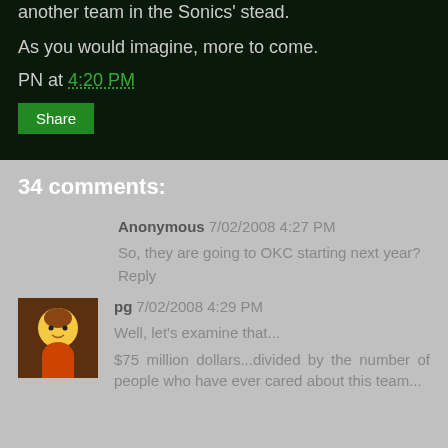another team in the Sonics' stead.
As you would imagine, more to come.
PN at 4:20 PM
Share
34 comments:
Anonymous 7/02/2008 4:27 PM
So, they are going to OKC starting next year?
Reply
pg 7/02/2008 4:29 PM
Well, let's examine that...
$75 million dollars...divided by the number of people who have ever cared about this team...